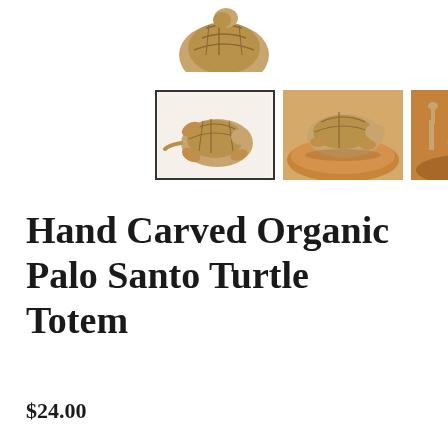[Figure (photo): Partial view of a hand-carved Palo Santo turtle figurine, top portion visible against white background]
[Figure (photo): Three product thumbnail images: first (selected, with border) shows a small hand-carved wooden turtle figurine on white background; second shows the same turtle figurine viewed from side on a wooden plate; third shows multiple small hand-carved wooden animal figurines on a wooden surface]
Hand Carved Organic Palo Santo Turtle Totem
$24.00